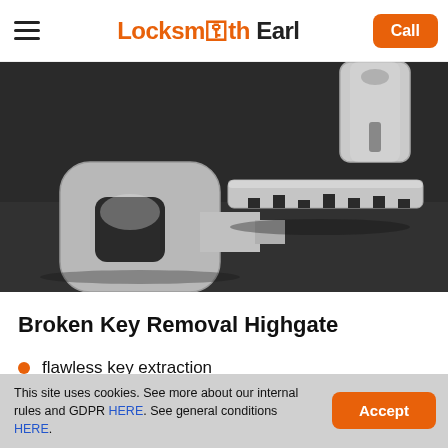Locksmith Earl — Call
[Figure (photo): Close-up photo of a broken key — the key head separated from the blade, laid on a dark surface. A lock cylinder is visible in the upper right corner.]
Broken Key Removal Highgate
flawless key extraction
This site uses cookies. See more about our internal rules and GDPR HERE. See general conditions HERE.